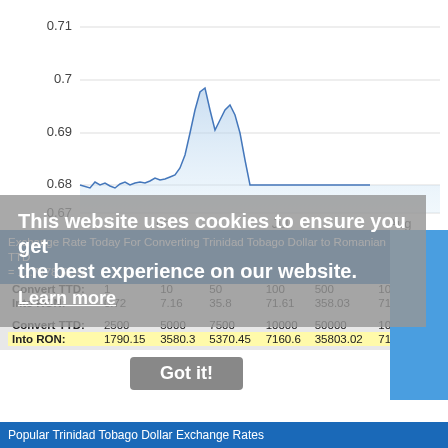[Figure (area-chart): Area chart showing TTD to RON exchange rate from Jun to Aug, ranging approximately 0.67 to 0.71, with a peak around late June/early July at ~0.697.]
Exchange Rate Today For Converting Trinidad Tobago Dollar to Romanian Leu - 1 TTD = 11.7178 RON
| Convert TTD: | 1 | 10 | 50 | 100 | 500 | 1000 |
| --- | --- | --- | --- | --- | --- | --- |
| Into RON: | 0.72 | 7.16 | 35.8 | 71.61 | 358.03 | 716.06 |
| Convert TTD: | 2500 | 5000 | 7500 | 10000 | 50000 | 100000 |
| --- | --- | --- | --- | --- | --- | --- |
| Into RON: | 1790.15 | 3580.3 | 5370.45 | 7160.6 | 35803.02 | 71606.04 |
Popular Trinidad Tobago Dollar Exchange Rates